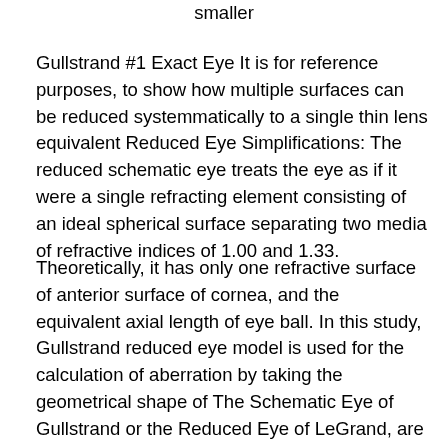smaller
Gullstrand #1 Exact Eye It is for reference purposes, to show how multiple surfaces can be reduced systemmatically to a single thin lens equivalent Reduced Eye Simplifications: The reduced schematic eye treats the eye as if it were a single refracting element consisting of an ideal spherical surface separating two media of refractive indices of 1.00 and 1.33.
Theoretically, it has only one refractive surface of anterior surface of cornea, and the equivalent axial length of eye ball. In this study, Gullstrand reduced eye model is used for the calculation of aberration by taking the geometrical shape of The Schematic Eye of Gullstrand or the Reduced Eye of LeGrand, are technically based on a paraxial optical analysis. This paraxial analysis only applies to angles less